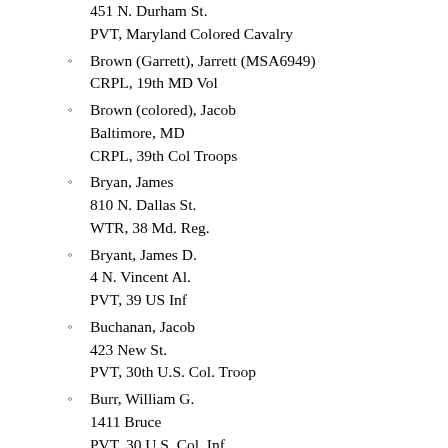451 N. Durham St.
PVT, Maryland Colored Cavalry
Brown (Garrett), Jarrett (MSA6949)
CRPL, 19th MD Vol
Brown (colored), Jacob
Baltimore, MD
CRPL, 39th Col Troops
Bryan, James
810 N. Dallas St.
WTR, 38 Md. Reg.
Bryant, James D.
4 N. Vincent Al.
PVT, 39 US Inf
Buchanan, Jacob
423 New St.
PVT, 30th U.S. Col. Troop
Burr, William G.
1411 Bruce
PVT, 30 U.S. Col. Inf.
Butler, William H.
1435 Ward St.
PVT, 7 Cold. Inf.
- C -
Cain, Lloyd